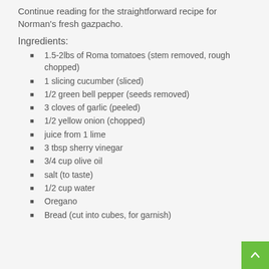Continue reading for the straightforward recipe for Norman's fresh gazpacho.
Ingredients:
1.5-2lbs of Roma tomatoes (stem removed, rough chopped)
1 slicing cucumber (sliced)
1/2 green bell pepper (seeds removed)
3 cloves of garlic (peeled)
1/2 yellow onion (chopped)
juice from 1 lime
3 tbsp sherry vinegar
3/4 cup olive oil
salt (to taste)
1/2 cup water
Oregano
Bread (cut into cubes, for garnish)